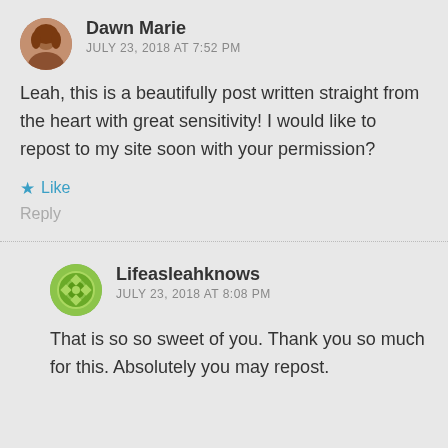Dawn Marie
JULY 23, 2018 AT 7:52 PM
Leah, this is a beautifully post written straight from the heart with great sensitivity! I would like to repost to my site soon with your permission?
★ Like
Reply
Lifeasleahknows
JULY 23, 2018 AT 8:08 PM
That is so so sweet of you. Thank you so much for this. Absolutely you may repost.